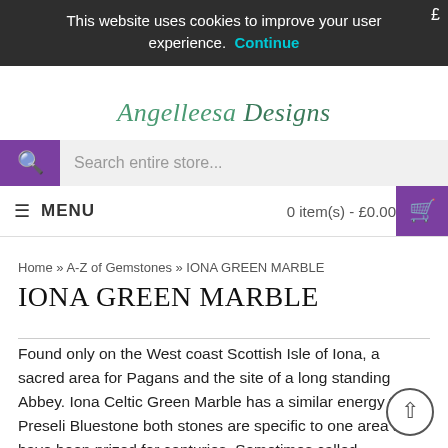This website uses cookies to improve your user experience. Continue
[Figure (logo): Angelleesa Designs logo with decorative bird/wing graphic in gold above stylised green italic text]
Search entire store...
MENU  0 item(s) - £0.00
Home » A-Z of Gemstones » IONA GREEN MARBLE
IONA GREEN MARBLE
Found only on the West coast Scottish Isle of Iona, a sacred area for Pagans and the site of a long standing Abbey. Iona Celtic Green Marble has a similar energy to Preseli Bluestone both stones are specific to one area and have been prized for centuries. Sometimes called 'Mermaids Tears' the stone was quarried here for a time but now only small amounts are dived for and hand mined for collectors. Healers use the stone to de-stress and de-tox reverting you back to a state of